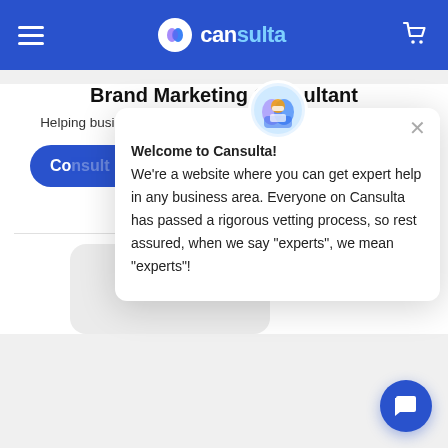[Figure (screenshot): Cansulta website navigation bar with hamburger menu, Cansulta logo, and cart icon on blue background]
Brand Marketing Consultant
Helping businesses create authentic brand strategies and win
[Figure (screenshot): Blue rounded 'Consult' button partially visible]
5.0
[Figure (infographic): Welcome to Cansulta popup with avatar icon, close button, and welcome message text: Welcome to Cansulta! We're a website where you can get expert help in any business area. Everyone on Cansulta has passed a rigorous vetting process, so rest assured, when we say "experts", we mean "experts"!]
[Figure (screenshot): Blue circular chat button in the bottom right corner]